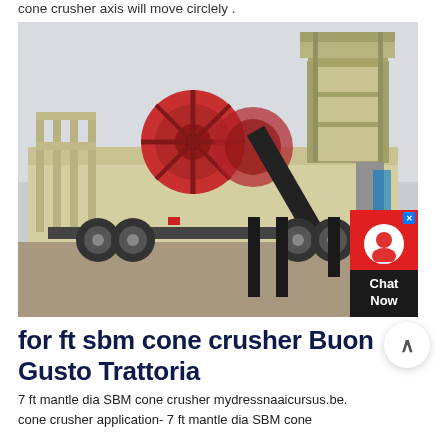cone crusher axis will move circlely .
[Figure (photo): A large mobile jaw crusher machine mounted on a trailer/truck chassis, painted cream/beige with a red flywheel, black conveyor belt, and structural steel platform, photographed outdoors on a paved surface.]
for ft sbm cone crusher Buon Gusto Trattoria
7 ft mantle dia SBM cone crusher mydressnaaicursus.be. cone crusher application- 7 ft mantle dia SBM cone